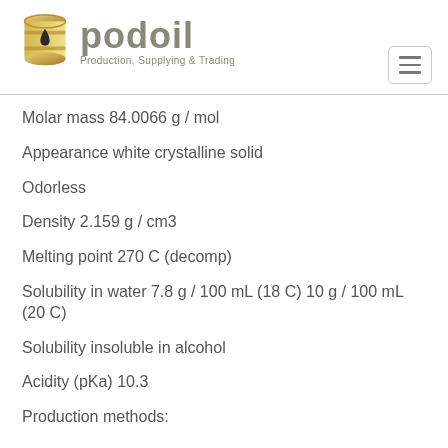[Figure (logo): Podoil company logo with gold barrel icon, gray text reading 'podoil' and tagline 'Production, Supplying & Trading']
Molar mass 84.0066 g / mol
Appearance white crystalline solid
Odorless
Density 2.159 g / cm3
Melting point 270 C (decomp)
Solubility in water 7.8 g / 100 mL (18 C) 10 g / 100 mL (20 C)
Solubility insoluble in alcohol
Acidity (pKa) 10.3
Production methods: